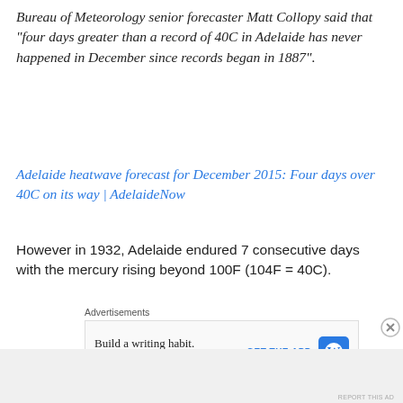Bureau of Meteorology senior forecaster Matt Collopy said that “four days greater than a record of 40C in Adelaide has never happened in December since records began in 1887”.
Adelaide heatwave forecast for December 2015: Four days over 40C on its way | AdelaideNow
However in 1932, Adelaide endured 7 consecutive days with the mercury rising beyond 100F (104F = 40C).
Advertisements
[Figure (screenshot): Advertisement banner: Build a writing habit. Post on the go. GET THE APP with WordPress icon]
REPORT THIS AD
Advertisements
REPORT THIS AD